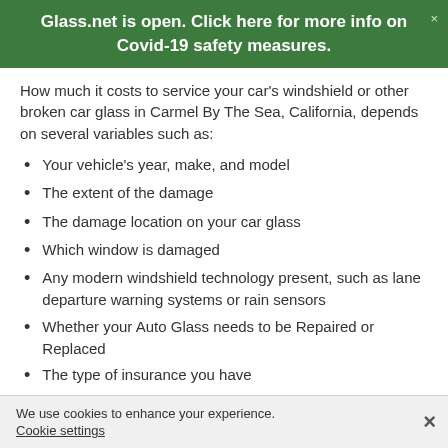Glass.net is open. Click here for more info on Covid-19 safety measures.
How much it costs to service your car's windshield or other broken car glass in Carmel By The Sea, California, depends on several variables such as:
Your vehicle's year, make, and model
The extent of the damage
The damage location on your car glass
Which window is damaged
Any modern windshield technology present, such as lane departure warning systems or rain sensors
Whether your Auto Glass needs to be Repaired or Replaced
The type of insurance you have
We use cookies to enhance your experience. Cookie settings